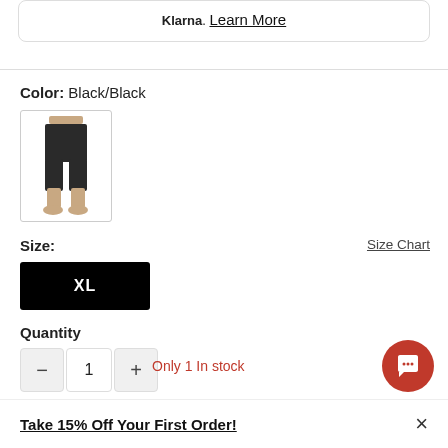Klarna. Learn More
Color: Black/Black
[Figure (photo): Product thumbnail showing black athletic shorts worn by a model, shown from waist down]
Size:
Size Chart
XL
Quantity
- 1 + Only 1 In stock
Take 15% Off Your First Order!